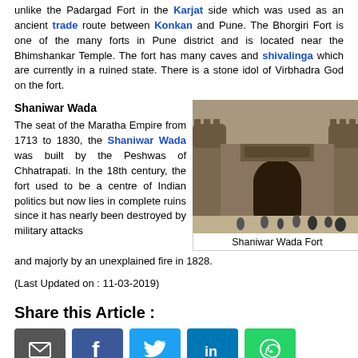unlike the Padargad Fort in the Karjat side which was used as an ancient trade route between Konkan and Pune. The Bhorgiri Fort is one of the many forts in Pune district and is located near the Bhimshankar Temple. The fort has many caves and shivalinga which are currently in a ruined state. There is a stone idol of Virbhadra God on the fort.
Shaniwar Wada
The seat of the Maratha Empire from 1713 to 1830, the Shaniwar Wada was built by the Peshwas of Chhatrapati. In the 18th century, the fort used to be a centre of Indian politics but now lies in complete ruins since it has nearly been destroyed by military attacks and majorly by an unexplained fire in 1828.
[Figure (photo): Photograph of Shaniwar Wada Fort showing the large stone entrance gate with rounded towers and people gathered at the front.]
Shaniwar Wada Fort
(Last Updated on : 11-03-2019)
Share this Article :
[Figure (infographic): Social share buttons: Email, Facebook, Twitter, LinkedIn, WhatsApp]